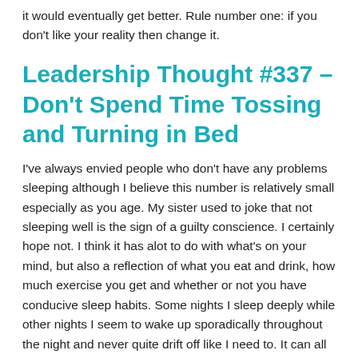it would eventually get better. Rule number one: if you don't like your reality then change it.
Leadership Thought #337 – Don't Spend Time Tossing and Turning in Bed
I've always envied people who don't have any problems sleeping although I believe this number is relatively small especially as you age. My sister used to joke that not sleeping well is the sign of a guilty conscience. I certainly hope not. I think it has alot to do with what's on your mind, but also a reflection of what you eat and drink, how much exercise you get and whether or not you have conducive sleep habits. Some nights I sleep deeply while other nights I seem to wake up sporadically throughout the night and never quite drift off like I need to. It can all get a bit